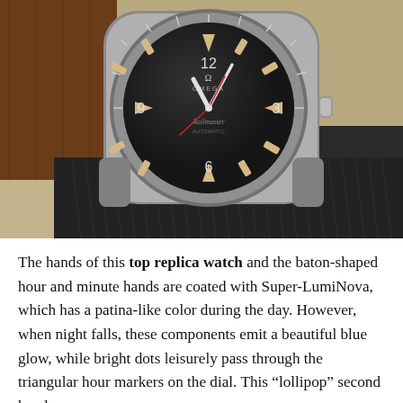[Figure (photo): Close-up photograph of an Omega Railmaster vintage-style wristwatch with a dark black dial, cream/patina-colored baton hour markers, silver hands, showing numbers 12, 3, 6, and 9. The watch sits on layered watch straps — a dark black NATO strap with orange stitching and a brown leather strap visible underneath. Background is a woven beige/tan textile surface.]
The hands of this top replica watch and the baton-shaped hour and minute hands are coated with Super-LumiNova, which has a patina-like color during the day. However, when night falls, these components emit a beautiful blue glow, while bright dots leisurely pass through the triangular hour markers on the dial. This “lollipop” second hand